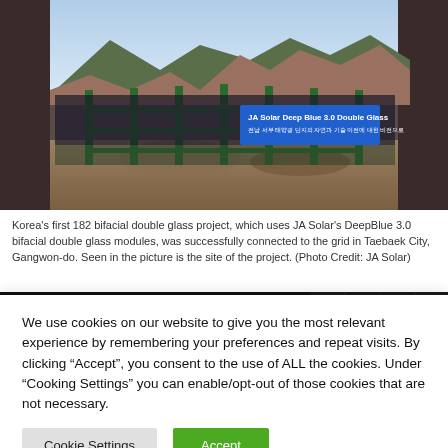[Figure (photo): Solar panel installation at a mountainous site in Korea. A blue sign reads 'JA Solar Deep Blue 3.0 Double Glass'. Green metal framing and solar panels visible against mountain backdrop with trees.]
Korea's first 182 bifacial double glass project, which uses JA Solar's DeepBlue 3.0 bifacial double glass modules, was successfully connected to the grid in Taebaek City, Gangwon-do. Seen in the picture is the site of the project. (Photo Credit: JA Solar)
[Figure (photo): JinKO Solar advertisement banner: Tiger Neo 620W, N-Type TOPCon - A Notch Above, on dark background with solar panel texture.]
We use cookies on our website to give you the most relevant experience by remembering your preferences and repeat visits. By clicking “Accept”, you consent to the use of ALL the cookies. Under “Cooking Settings” you can enable/opt-out of those cookies that are not necessary.
Cookie Settings | Accept